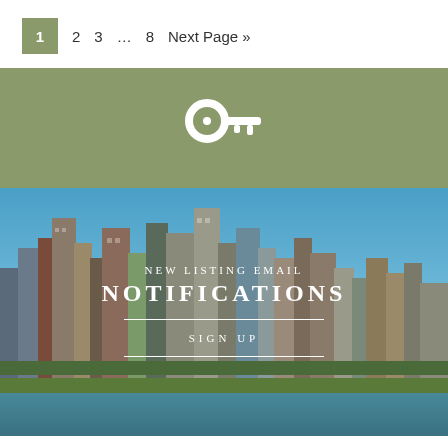1  2  3  …  8  Next Page »
[Figure (illustration): Key icon (white) on olive/sage green background]
[Figure (photo): City skyline photo with overlay text reading 'NEW LISTING EMAIL NOTIFICATIONS' and 'SIGN UP' with decorative lines]